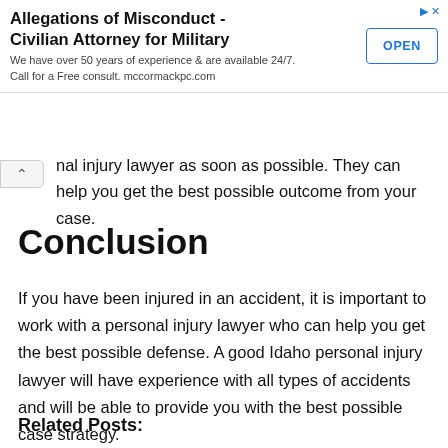[Figure (other): Advertisement banner: Allegations of Misconduct - Civilian Attorney for Military. We have over 50 years of experience & are available 24/7. Call for a Free consult. mccormackpc.com. With an OPEN button.]
nal injury lawyer as soon as possible. They can help you get the best possible outcome from your case.
Conclusion
If you have been injured in an accident, it is important to work with a personal injury lawyer who can help you get the best possible defense. A good Idaho personal injury lawyer will have experience with all types of accidents and will be able to provide you with the best possible case strategy.
Related Posts: